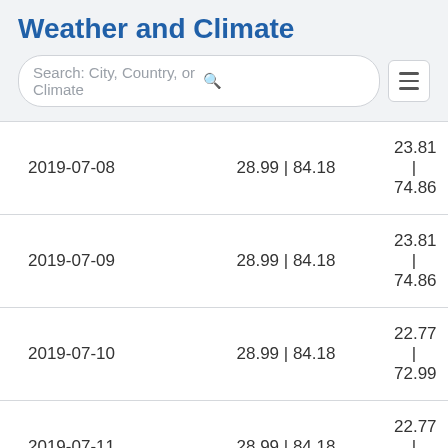Weather and Climate
Search: City, Country, or Climate
| Date | Col2 | Col3 |
| --- | --- | --- |
| 2019-07-08 | 28.99 | 84.18 | 23.81 | 74.86 |
| 2019-07-09 | 28.99 | 84.18 | 23.81 | 74.86 |
| 2019-07-10 | 28.99 | 84.18 | 22.77 | 72.99 |
| 2019-07-11 | 28.99 | 84.18 | 22.77 | 72.99 |
| 2019-07-12 | 28.99 | 84.18 | 22.77 | 72.99 |
| 2019-07-13 | 28.99 | 84.18 | 23.81 | 74.86 |
| 2019-07-14 | 28.99 | 84.18 | 22.77 | 72.99 |